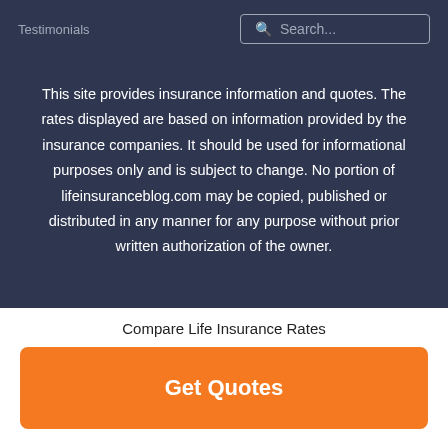Testimonials
This site provides insurance information and quotes. The rates displayed are based on information provided by the insurance companies. It should be used for informational purposes only and is subject to change. No portion of lifeinsuranceblog.com may be copied, published or distributed in any manner for any purpose without prior written authorization of the owner.
Compare Life Insurance Rates
Get Quotes